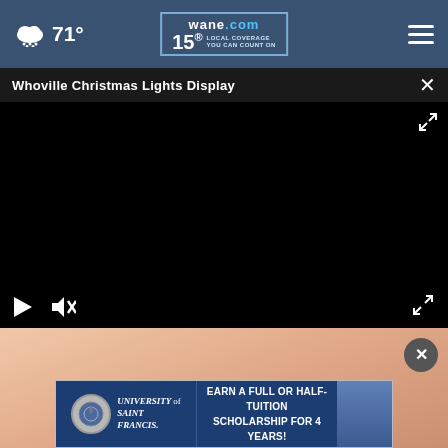wane.com 15 LOCAL COVERAGE YOU CAN COUNT ON — 71°
Whoville Christmas Lights Display
[Figure (screenshot): Black video player area with playback controls: play button, mute button, and fullscreen button]
[Figure (photo): Person's hand/skin close-up visible below the video player]
[Figure (other): University of Saint Francis advertisement banner: 'EARN A FULL OR HALF-TUITION SCHOLARSHIP FOR 4 YEARS!']